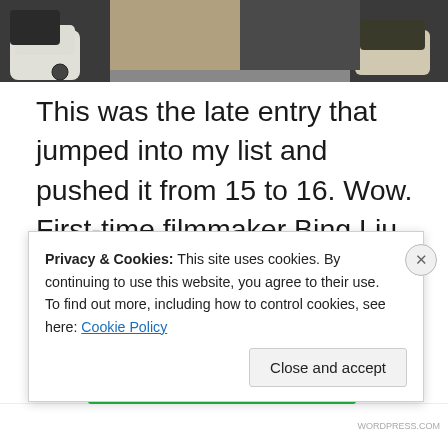[Figure (photo): Partial photo showing people sitting on the ground with shoes visible, skateboarders]
This was the late entry that jumped into my list and pushed it from 15 to 16. Wow. First-time filmmaker Bing Liu has created a heartbreaking and deeply personal portrait of the particular and collective histories of his childhood circle of friends, now adults but not all grown-ups. I am astounded at his vision, heart, and skill. He not only made a stunning first film, but he did it by gently and honestly documenting the sin and pain and struggle of his closest friends, his family, and his own story. This is tough
Privacy & Cookies: This site uses cookies. By continuing to use this website, you agree to their use.
To find out more, including how to control cookies, see here: Cookie Policy
Close and accept